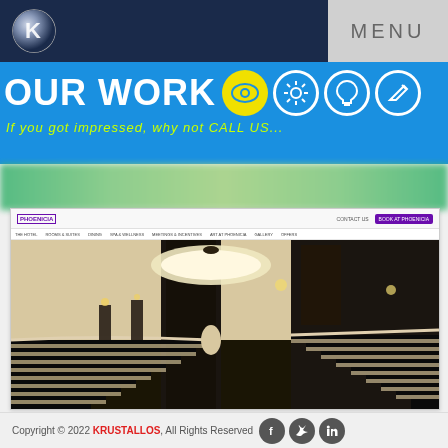[Figure (logo): Krustallos logo: a globe/sphere icon in white and blue on dark navy background]
MENU
OUR WORK
[Figure (infographic): Four circular icons: eye (yellow background), gear/settings, lightbulb, pencil/edit]
If you got impressed, why not CALL US...
[Figure (screenshot): Screenshot of a hotel website showing a grand marble staircase in a luxury hotel lobby]
Copyright © 2022 KRUSTALLOS, All Rights Reserved